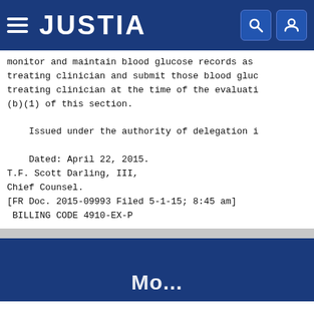JUSTIA
monitor and maintain blood glucose records as
treating clinician and submit those blood glu
treating clinician at the time of the evaluati
(b)(1) of this section.

    Issued under the authority of delegation i

    Dated: April 22, 2015.
T.F. Scott Darling, III,
Chief Counsel.
[FR Doc. 2015-09993 Filed 5-1-15; 8:45 am]
 BILLING CODE 4910-EX-P